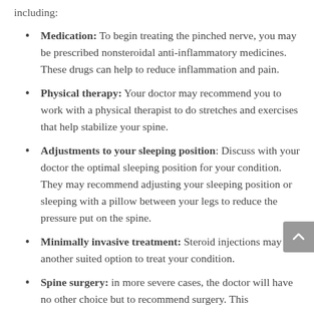including:
Medication: To begin treating the pinched nerve, you may be prescribed nonsteroidal anti-inflammatory medicines. These drugs can help to reduce inflammation and pain.
Physical therapy: Your doctor may recommend you to work with a physical therapist to do stretches and exercises that help stabilize your spine.
Adjustments to your sleeping position: Discuss with your doctor the optimal sleeping position for your condition. They may recommend adjusting your sleeping position or sleeping with a pillow between your legs to reduce the pressure put on the spine.
Minimally invasive treatment: Steroid injections may be another suited option to treat your condition.
Spine surgery: in more severe cases, the doctor will have no other choice but to recommend surgery. This